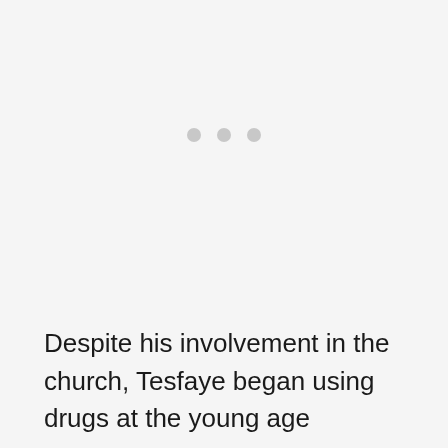[Figure (other): Three light gray dots arranged horizontally, resembling a loading indicator]
Despite his involvement in the church, Tesfaye began using drugs at the young age